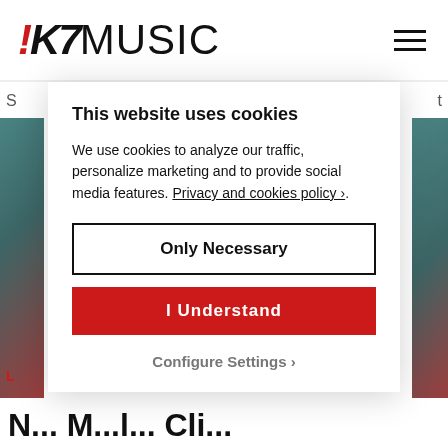!K7MUSIC
[Figure (screenshot): K7 Music website screenshot showing a cookie consent modal overlay on top of the website content. The modal has a white background with shadow and contains cookie consent options.]
This website uses cookies
We use cookies to analyze our traffic, personalize marketing and to provide social media features. Privacy and cookies policy ›.
Only Necessary
I Understand
Configure Settings ›